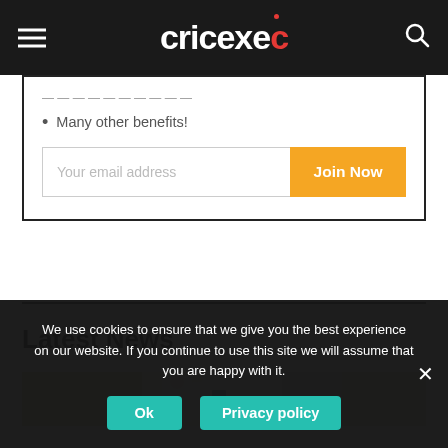cricexec
Many other benefits!
Your email address | Join Now
Latest News
[Figure (photo): Cricket players photo strip]
We use cookies to ensure that we give you the best experience on our website. If you continue to use this site we will assume that you are happy with it. Ok | Privacy policy